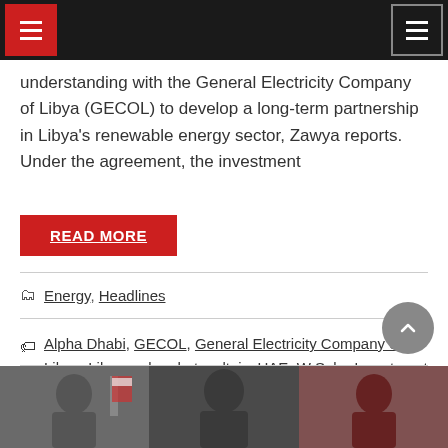Navigation bar with hamburger menus
understanding with the General Electricity Company of Libya (GECOL) to develop a long-term partnership in Libya's renewable energy sector, Zawya reports. Under the agreement, the investment
READ MORE
Energy, Headlines
Alpha Dhabi, GECOL, General Electricity Company of Libya, Libya, solar photovoltaic, UAE, W Solar Investment
[Figure (photo): Photograph showing three men seated, likely at an official signing or meeting event]